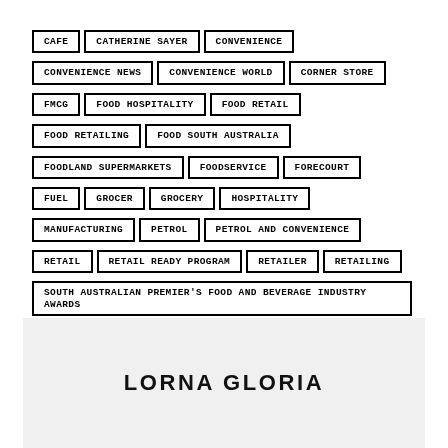CAFE
CATHERINE SAYER
CONVENIENCE
CONVENIENCE NEWS
CONVENIENCE WORLD
CORNER STORE
FMCG
FOOD HOSPITALITY
FOOD RETAIL
FOOD RETAILING
FOOD SOUTH AUSTRALIA
FOODLAND SUPERMARKETS
FOODSERVICE
FORECOURT
FUEL
GROCER
GROCERY
HOSPITALITY
MANUFACTURING
PETROL
PETROL AND CONVENIENCE
RETAIL
RETAIL READY PROGRAM
RETAILER
RETAILING
SOUTH AUSTRALIAN PREMIER'S FOOD AND BEVERAGE INDUSTRY AWARDS
STEVEN MARSHALL
SUPERMARKET
SUPPLIER
LORNA GLORIA